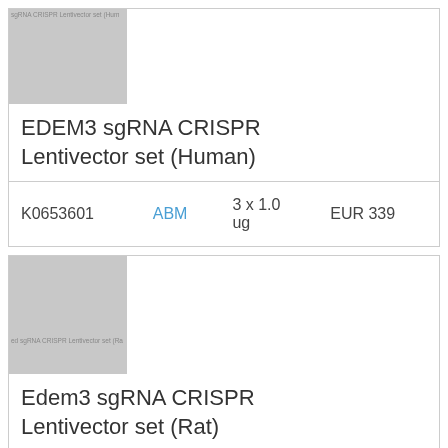[Figure (photo): Product image placeholder for EDEM3 sgRNA CRISPR Lentivector set (Human), gray rectangle with small text label]
EDEM3 sgRNA CRISPR Lentivector set (Human)
| K0653601 | ABM | 3 x 1.0 ug | EUR 339 |
| --- | --- | --- | --- |
[Figure (photo): Product image placeholder for Edem3 sgRNA CRISPR Lentivector set (Rat), gray rectangle with small text label]
Edem3 sgRNA CRISPR Lentivector set (Rat)
| K6190401 | ABM | 3 x 1.0 ug | EUR 339 |
| --- | --- | --- | --- |